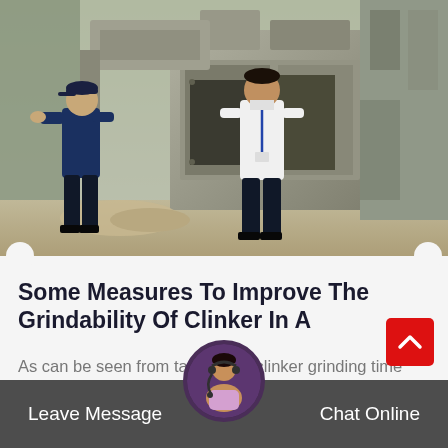[Figure (photo): Two workers standing near industrial grinding/milling machinery in a factory or cement plant setting. The machinery appears to be large metal equipment with hoppers and conveyors.]
Some Measures To Improve The Grindability Of Clinker In A
As can be seen from table 2 the clinker grinding time remained high in 2015 compared with the same period in 2014 on premise that the…